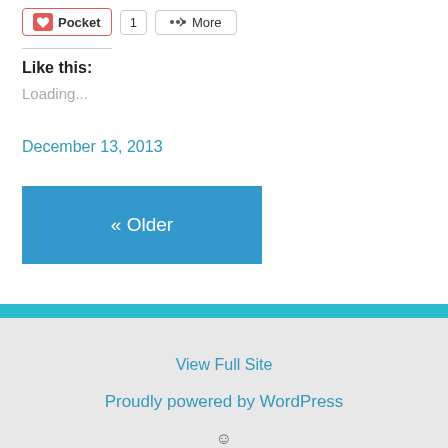[Figure (screenshot): Toolbar with Pocket button (heart icon, count 1) and More share button]
Like this:
Loading...
December 13, 2013
« Older
View Full Site
Proudly powered by WordPress